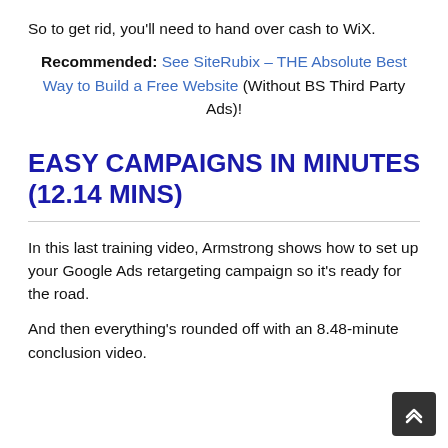So to get rid, you'll need to hand over cash to WiX.
Recommended: See SiteRubix – THE Absolute Best Way to Build a Free Website (Without BS Third Party Ads)!
EASY CAMPAIGNS IN MINUTES (12.14 MINS)
In this last training video, Armstrong shows how to set up your Google Ads retargeting campaign so it's ready for the road.
And then everything's rounded off with an 8.48-minute conclusion video.